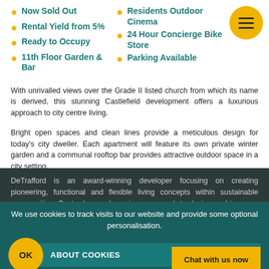Now Sold Out
Rental Yield from 5%
Ready to Occupy
11th Floor Garden & Bar
Residents Outdoor Cinema
24 Hour Concierge Bike Store
Parking Available
With unrivalled views over the Grade II listed church from which its name is derived, this stunning Castlefield development offers a luxurious approach to city centre living.
Bright open spaces and clean lines provide a meticulous design for today's city dweller. Each apartment will feature its own private winter garden and a communal rooftop bar provides attractive outdoor space in a city setting.
DeTrafford is an award-winning developer focusing on creating pioneering, functional and flexible living concepts within sustainable communities. Centred around a unique approach to design and innovative use of space, DeTrafford's current portfolio consists of... currently being built.
We use cookies to track visits to our website and provide some optional personalisation.